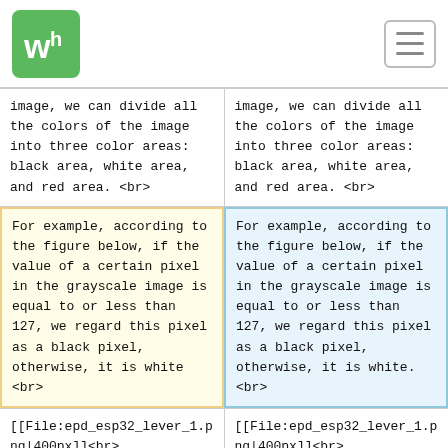WS logo and navigation
image, we can divide all the colors of the image into three color areas: black area, white area, and red area. <br>
image, we can divide all the colors of the image into three color areas: black area, white area, and red area. <br>
For example, according to the figure below, if the value of a certain pixel in the grayscale image is equal to or less than 127, we regard this pixel as a black pixel, otherwise, it is white <br>
For example, according to the figure below, if the value of a certain pixel in the grayscale image is equal to or less than 127, we regard this pixel as a black pixel, otherwise, it is white. <br>
[[File:epd_esp32_lever_1.png|400px]]<br>
[[File:epd_esp32_lever_1.png|400px]]<br>